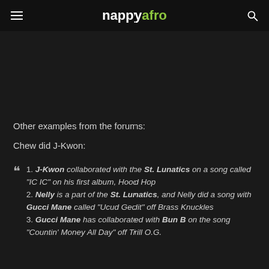nappyafro
Other examples from the forums:
Chew did J-Kwon:
1. J-Kwon collaborated with the St. Lunatics on a song called "IC IC" on his first album, Hood Hop
2. Nelly is a part of the St. Lunatics, and Nelly did a song with Gucci Mane called "Ucud Gedit" off Brass Knuckles
3. Gucci Mane has collaborated with Bun B on the song "Countin' Money All Day" off Trill O.G.